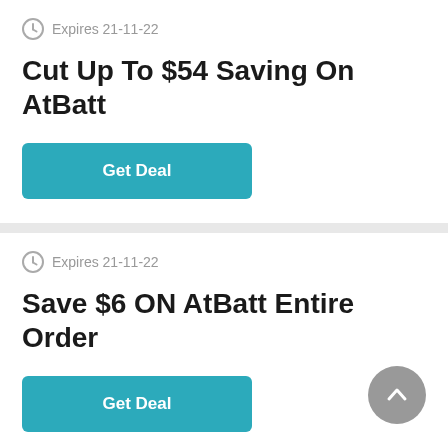Expires 21-11-22
Cut Up To $54 Saving On AtBatt
Get Deal
Expires 21-11-22
Save $6 ON AtBatt Entire Order
Get Deal